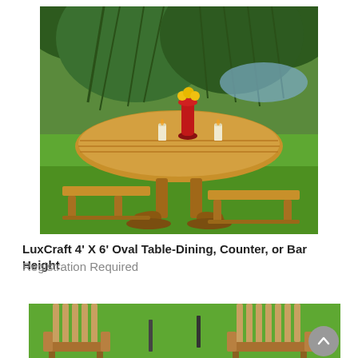[Figure (photo): Outdoor wooden oval dining table with two benches on a green lawn, with a red vase holding yellow flowers and two candles on the table. Trees and a pond visible in background.]
LuxCraft 4' X 6' Oval Table-Dining, Counter, or Bar Height
Registration Required
[Figure (photo): Partial view of outdoor wooden Adirondack chairs on a green lawn.]